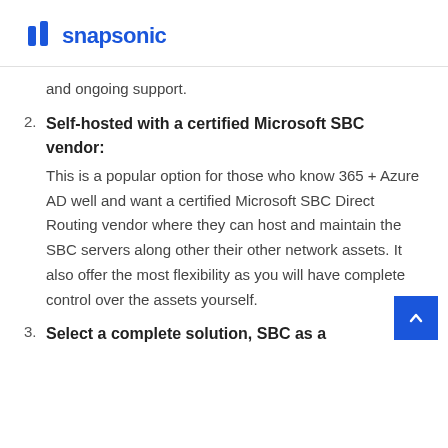snapsonic
and ongoing support.
Self-hosted with a certified Microsoft SBC vendor: This is a popular option for those who know 365 + Azure AD well and want a certified Microsoft SBC Direct Routing vendor where they can host and maintain the SBC servers along other their other network assets. It also offer the most flexibility as you will have complete control over the assets yourself.
Select a complete solution, SBC as a